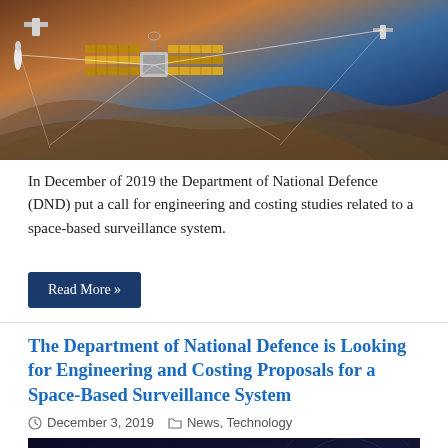[Figure (photo): Illustration of satellites in space above Earth's surface with interconnecting lines suggesting a surveillance network, brown/orange terrain visible below]
In December of 2019 the Department of National Defence (DND) put a call for engineering and costing studies related to a space-based surveillance system.
Read More »
The Department of National Defence is Looking for Engineering and Costing Proposals for a Space-Based Surveillance System
December 3, 2019   News, Technology
[Figure (photo): Illustration of a communications satellite in space with binary code and radar circle graphics in the background on a dark blue background]